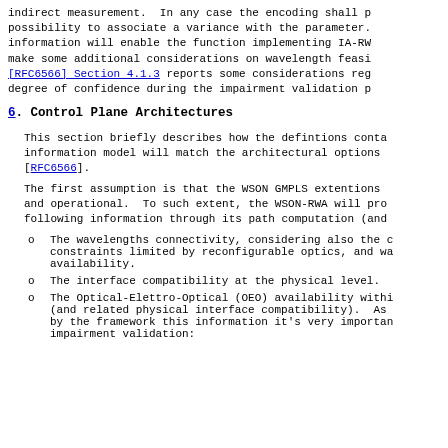indirect measurement.  In any case the encoding shall p
possibility to associate a variance with the parameter.
information will enable the function implementing IA-RW
make some additional considerations on wavelength feasi
[RFC6566] Section 4.1.3 reports some considerations reg
degree of confidence during the impairment validation p
6.   Control Plane Architectures
This section briefly describes how the defintions conta
information model will match the architectural options
[RFC6566].
The first assumption is that the WSON GMPLS extentions
and operational.  To such extent, the WSON-RWA will pro
following information through its path computation (and
The wavelengths connectivity, considering also the c
constraints limited by reconfigurable optics, and wa
availability.
The interface compatibility at the physical level.
The Optical-Elettro-Optical (OEO) availability withi
(and related physical interface compatibility).  As
by the framework this information it's very importan
impairment validation: